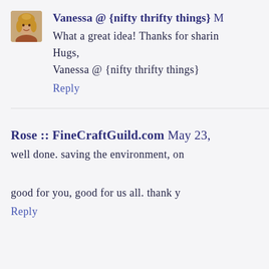[Figure (photo): Small circular/square avatar photo of a young woman with blonde hair]
Vanessa @ {nifty thrifty things} M
What a great idea! Thanks for sharing
Hugs,
Vanessa @ {nifty thrifty things}
Reply
Rose :: FineCraftGuild.com May 23,
well done. saving the environment, on
good for you, good for us all. thank y
Reply